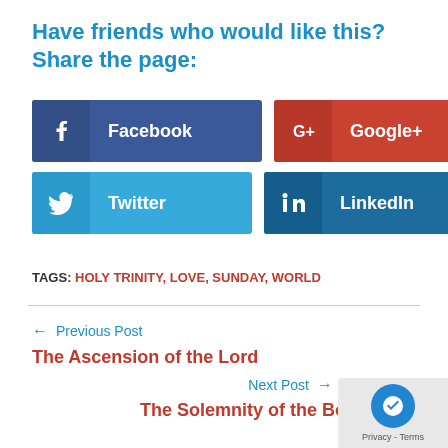Have friends who would like this? Share the page:
[Figure (infographic): Social sharing buttons for Facebook, Google+, Twitter, and LinkedIn]
TAGS: HOLY TRINITY, LOVE, SUNDAY, WORLD
← Previous Post
The Ascension of the Lord
Next Post →
The Solemnity of the Body and Blood of